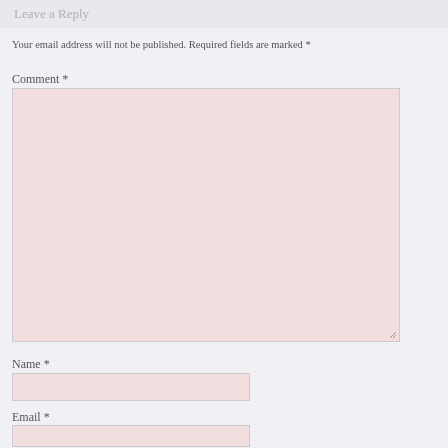Leave a Reply
Your email address will not be published. Required fields are marked *
Comment *
[Figure (other): Comment textarea input field with pinkish background]
Name *
[Figure (other): Name text input field with pinkish background]
Email *
[Figure (other): Email text input field with pinkish background]